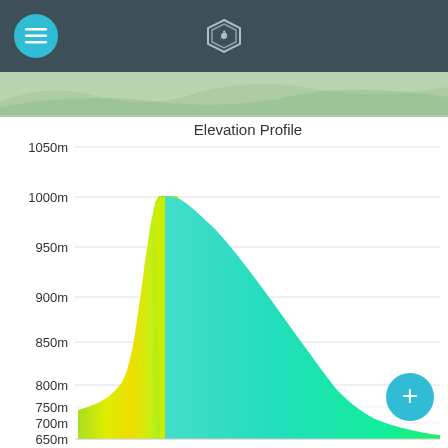App navigation header with hamburger menu and logo
[Figure (screenshot): Map satellite view strip showing terrain]
[Figure (area-chart): Elevation profile area chart showing terrain elevation from approximately 650m to 1010m peak, with gradient fill from yellow-green on the left to cyan/teal on the right side of the peak]